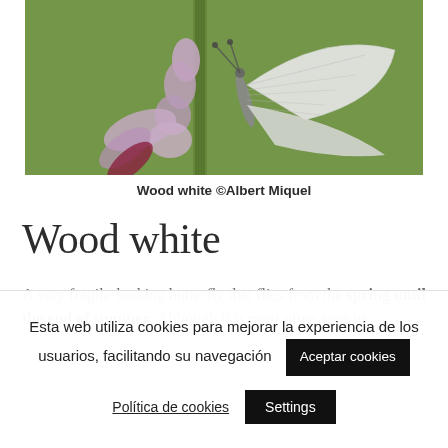[Figure (photo): A wood white butterfly perched on a purple/lavender flower stalk with buds, against a green background. The butterfly has white wings with dark veining.]
Wood white ©Albert Miquel
Wood white
A very fragile-looking butterfly that flies from the spring until the end of summer. Although it is most often seen in
Esta web utiliza cookies para mejorar la experiencia de los usuarios, facilitando su navegación
Aceptar cookies
Política de cookies
Settings